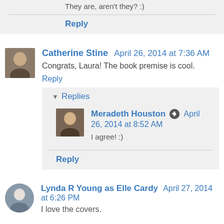They are, aren't they? :)
Reply
Catherine Stine  April 26, 2014 at 7:36 AM
Congrats, Laura! The book premise is cool.
Reply
Replies
Meradeth Houston  April 26, 2014 at 8:52 AM
I agree! :)
Reply
Lynda R Young as Elle Cardy  April 27, 2014 at 6:26 PM
I love the covers.